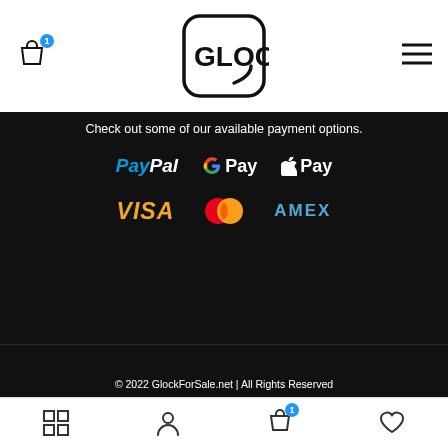GLOCK logo with shopping bag icon (badge: 1) and hamburger menu
Check out some of our available payment options.
[Figure (logo): Payment method logos: PayPal, G Pay, Apple Pay, VISA, Mastercard, AMEX]
© 2022 GlockForSale.net | All Rights Reserved
[Figure (infographic): Bottom navigation bar with grid, person, shopping bag (badge:1), and heart icons]